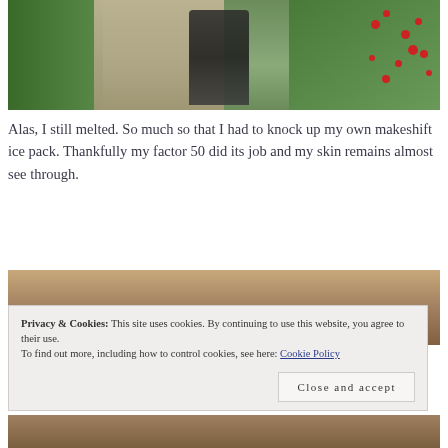[Figure (photo): Person in dark clothing walking barefoot on a gravel path flanked by green hedges and red flowering plants on the right side.]
Alas, I still melted. So much so that I had to knock up my own makeshift ice pack. Thankfully my factor 50 did its job and my skin remains almost see through.
[Figure (photo): Partial photo of a person with reddish-blonde hair, cropped at bottom of page.]
Privacy & Cookies: This site uses cookies. By continuing to use this website, you agree to their use.
To find out more, including how to control cookies, see here: Cookie Policy
Close and accept